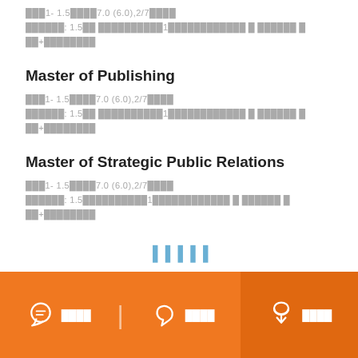███1- 1.5████7.0 (6.0),2/7████
██████: 1.5██ ██████████1██████████████ █ ██████ █ ██+████████
Master of Publishing
███1- 1.5████7.0 (6.0),2/7████
██████: 1.5██ ██████████1██████████████ █ ██████ █ ██+████████
Master of Strategic Public Relations
███1- 1.5████7.0 (6.0),2/7████
██████: 1.5████████████1██████████████ █ ██████ █ ██+████████
█████
████ | ████ | ████